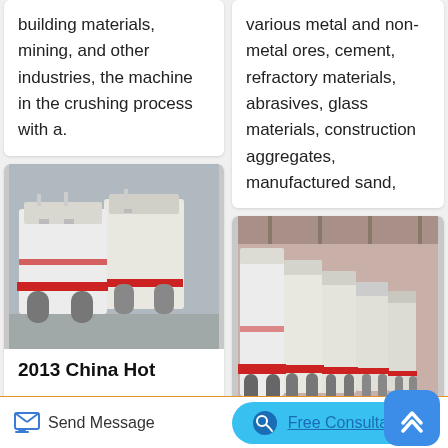building materials, mining, and other industries, the machine in the crushing process with a.
various metal and non-metal ores, cement, refractory materials, abrasives, glass materials, construction aggregates, manufactured sand,
[Figure (photo): White industrial impact crusher machines with red accents, outdoors]
2013 China Hot
[Figure (photo): Row of white impact crusher machines with red accents inside a factory/warehouse]
Send Message
Free Consultation